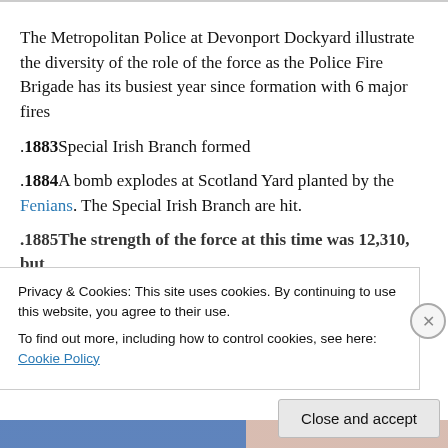The Metropolitan Police at Devonport Dockyard illustrate the diversity of the role of the force as the Police Fire Brigade has its busiest year since formation with 6 major fires
.1883 Special Irish Branch formed
.1884 A bomb explodes at Scotland Yard planted by the Fenians. The Special Irish Branch are hit.
.1885 The strength of the force at this time was 12,310, but
Privacy & Cookies: This site uses cookies. By continuing to use this website, you agree to their use. To find out more, including how to control cookies, see here: Cookie Policy